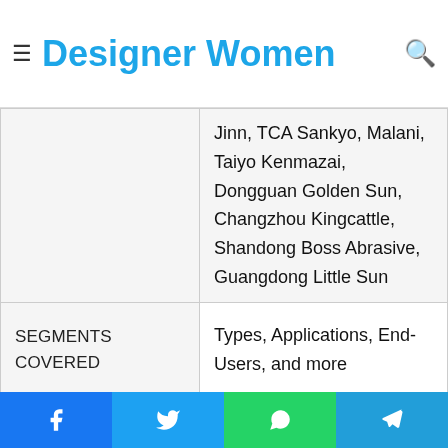Designer Women
|  |  |
| --- | --- |
|  | Jinn, TCA Sankyo, Malani, Taiyo Kenmazai, Dongguan Golden Sun, Changzhou Kingcattle, Shandong Boss Abrasive, Guangdong Little Sun |
| SEGMENTS COVERED | Types, Applications, End-Users, and more |
| REPORT COVERAGE | Total Revenue Forecast, Company Ranking and Market Share, Regional Competitive Landscape, Growth Factors, New Trends, Business Strategies, and more |
| REGION ANALYSIS | North America, Europe, Asia Pacific, Latin America, Middle East and Africa |
Facebook | Twitter | WhatsApp | Telegram